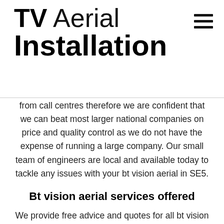TV Aerial Installation
from call centres therefore we are confident that we can beat most larger national companies on price and quality control as we do not have the expense of running a large company. Our small team of engineers are local and available today to tackle any issues with your bt vision aerial in SE5.
Bt vision aerial services offered
We provide free advice and quotes for all bt vision aerial issues in SE5. We carry all the necessary equipment with us so we can always perform the jobs at the point of proving you a quote if you instruct us we can have you bt vision aerial up and running within a couple of hours. So if you are experiencing problems with your bt vision aerial in SE5 call us on ...